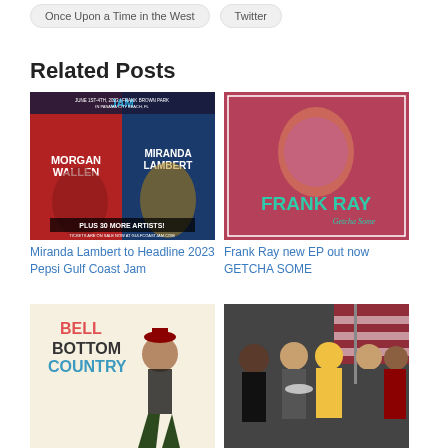Once Upon a Time in the West
Twitter
Related Posts
[Figure (photo): Concert promotional poster for 2023 Pepsi Gulf Coast Jam featuring Morgan Wallen and Miranda Lambert plus 30 more artists at Frank Brown Park, Panama City Beach, FL, June 1st-4th 2023]
Miranda Lambert to Headline 2023 Pepsi Gulf Coast Jam
[Figure (photo): Frank Ray album/EP cover for GETCHA SOME showing artist against pink/red background with teal text]
Frank Ray new EP out now GETCHA SOME
[Figure (photo): Bell Bottom Country promotional image showing female artist in wide-leg pants and red hat]
[Figure (photo): Group photo of people at an event with American flag in background]